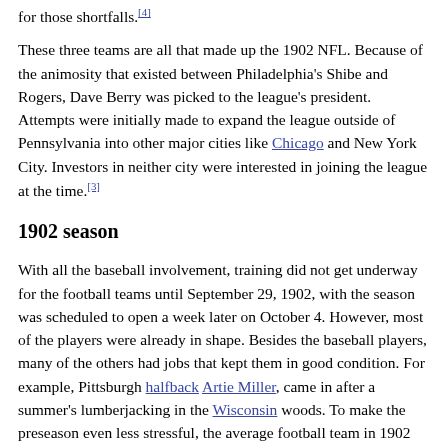for those shortfalls.[4]
These three teams are all that made up the 1902 NFL. Because of the animosity that existed between Philadelphia's Shibe and Rogers, Dave Berry was picked to the league's president. Attempts were initially made to expand the league outside of Pennsylvania into other major cities like Chicago and New York City. Investors in neither city were interested in joining the league at the time.[3]
1902 season
With all the baseball involvement, training did not get underway for the football teams until September 29, 1902, with the season was scheduled to open a week later on October 4. However, most of the players were already in shape. Besides the baseball players, many of the others had jobs that kept them in good condition. For example, Pittsburgh halfback Artie Miller, came in after a summer's lumberjacking in the Wisconsin woods. To make the preseason even less stressful, the average football team in 1902 only used about a half-dozen plays and they were all standard.
[Figure (photo): A black and white historical team photograph showing a group of football players posed together.]